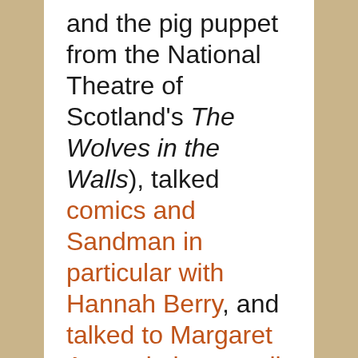and the pig puppet from the National Theatre of Scotland's The Wolves in the Walls), talked comics and Sandman in particular with Hannah Berry, and talked to Margaret Atwood about, well, everything really. (Did you know she does an astoundingly scary